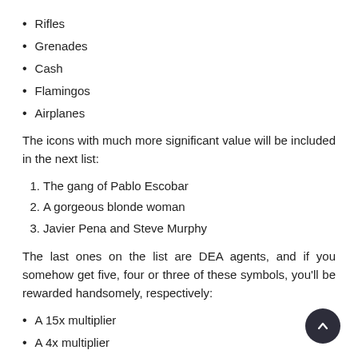Rifles
Grenades
Cash
Flamingos
Airplanes
The icons with much more significant value will be included in the next list:
1. The gang of Pablo Escobar
2. A gorgeous blonde woman
3. Javier Pena and Steve Murphy
The last ones on the list are DEA agents, and if you somehow get five, four or three of these symbols, you'll be rewarded handsomely, respectively:
A 15x multiplier
A 4x multiplier
A 1x multiplier